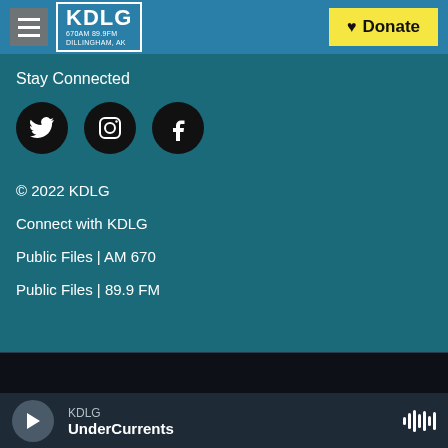KDLG 670AM 89.9FM DILLINGHAM, AK — Donate
Stay Connected
[Figure (other): Three social media icon buttons: Twitter (bird), Instagram, Facebook]
© 2022 KDLG
Connect with KDLG
Public Files | AM 670
Public Files | 89.9 FM
KDLG UnderCurrents